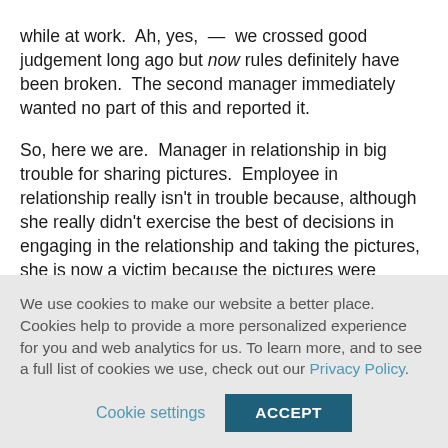while at work.  Ah, yes,  —  we crossed good judgement long ago but now rules definitely have been broken.  The second manager immediately wanted no part of this and reported it.
So, here we are.  Manager in relationship in big trouble for sharing pictures.  Employee in relationship really isn't in trouble because, although she really didn't exercise the best of decisions in engaging in the relationship and taking the pictures, she is now a victim because the pictures were shared at work.  So, my protégé is doing a fine job with the interviews and
We use cookies to make our website a better place.  Cookies help to provide a more personalized experience for you and web analytics for us. To learn more, and to see a full list of cookies we use, check out our Privacy Policy.
Cookie settings  ACCEPT